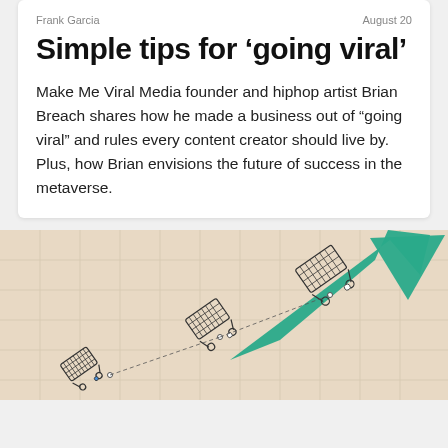Frank Garcia   August 20
Simple tips for 'going viral'
Make Me Viral Media founder and hiphop artist Brian Breach shares how he made a business out of "going viral" and rules every content creator should live by. Plus, how Brian envisions the future of success in the metaverse.
[Figure (illustration): An illustration on a beige/tan grid background showing shopping carts arranged diagonally with a large teal/green upward-pointing arrow overlaid, suggesting viral growth or rising trend.]